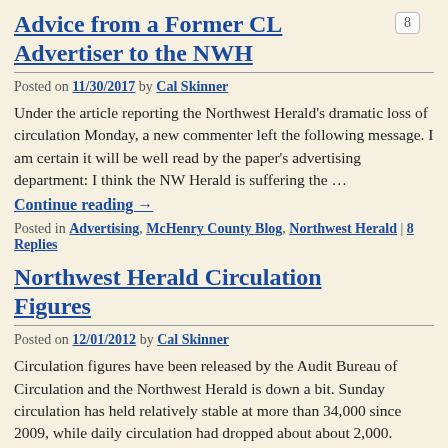Advice from a Former CL Advertiser to the NWH
Posted on 11/30/2017 by Cal Skinner
Under the article reporting the Northwest Herald's dramatic loss of circulation Monday, a new commenter left the following message. I am certain it will be well read by the paper's advertising department: I think the NW Herald is suffering the …
Continue reading →
Posted in Advertising, McHenry County Blog, Northwest Herald | 8 Replies
Northwest Herald Circulation Figures
Posted on 12/01/2012 by Cal Skinner
Circulation figures have been released by the Audit Bureau of Circulation and the Northwest Herald is down a bit. Sunday circulation has held relatively stable at more than 34,000 since 2009, while daily circulation had dropped about about 2,000. September …